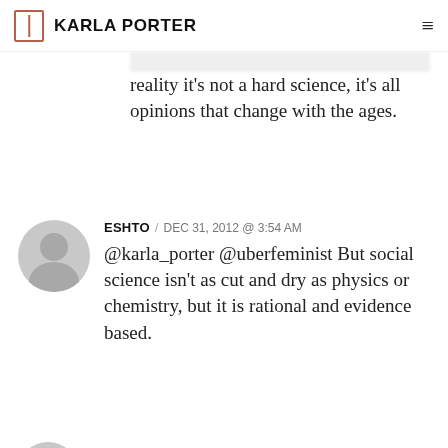KARLA PORTER
reality it's not a hard science, it's all opinions that change with the ages.
ESHTO / DEC 31, 2012 @ 3:54 AM
@karla_porter @uberfeminist But social science isn't as cut and dry as physics or chemistry, but it is rational and evidence based.
DANIELWADDELL17 / DEC 31,